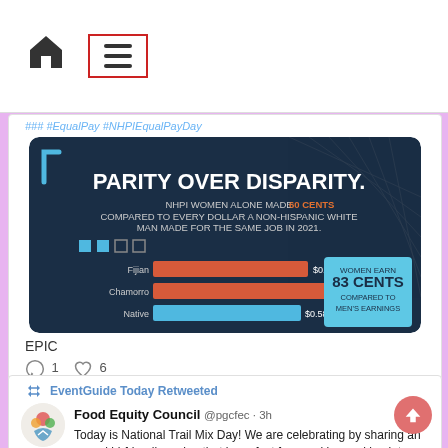[Figure (screenshot): Navigation bar with home icon and hamburger menu icon with red border]
### #EqualPay #NHPIEqualPayDay
[Figure (infographic): Parity Over Disparity infographic. NHPI Women alone made 60 cents compared to every dollar a non-Hispanic white man made for the same job in 2021. Bar chart showing Fijian $0.67, Chamorro $0.76, Native... Women earn 83 cents compared to men's earnings.]
EPIC
1  6
EventGuide Today Retweeted
Food Equity Council @pgcfec · 3h
Today is National Trail Mix Day! We are celebrating by sharing an easy, kid-friendly recipe that is perfect for snacking and back to school provided by Maryland SNAP-Ed for...